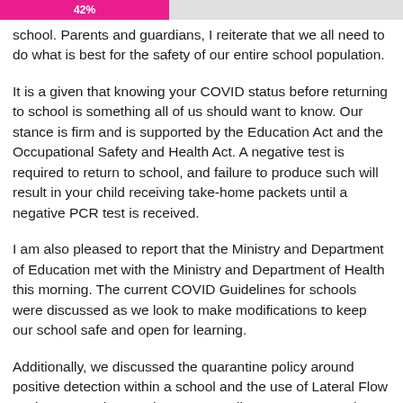[Figure (infographic): Progress bar showing 42% in pink/magenta color]
school. Parents and guardians, I reiterate that we all need to do what is best for the safety of our entire school population.
It is a given that knowing your COVID status before returning to school is something all of us should want to know. Our stance is firm and is supported by the Education Act and the Occupational Safety and Health Act. A negative test is required to return to school, and failure to produce such will result in your child receiving take-home packets until a negative PCR test is received.
I am also pleased to report that the Ministry and Department of Education met with the Ministry and Department of Health this morning. The current COVID Guidelines for schools were discussed as we look to make modifications to keep our school safe and open for learning.
Additionally, we discussed the quarantine policy around positive detection within a school and the use of Lateral Flow testing to supplement the current Saliva COVID Screening Program. We all agree that positive cases will b